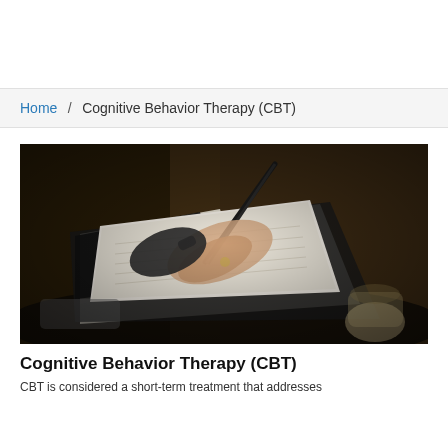Home / Cognitive Behavior Therapy (CBT)
[Figure (photo): Close-up photograph of a person's hand holding a pen and writing in a notebook, placed on a dark table with a cup and other items blurred in the background.]
Cognitive Behavior Therapy (CBT)
CBT is considered a short-term treatment that addresses...